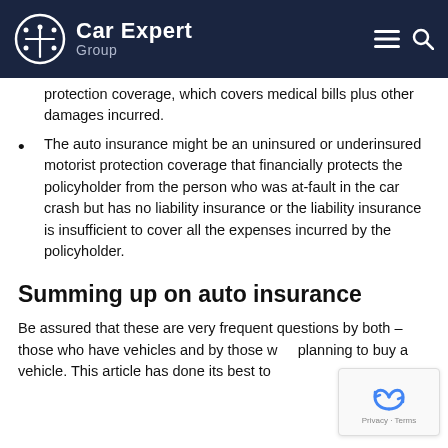Car Expert Group
protection coverage, which covers medical bills plus other damages incurred.
The auto insurance might be an uninsured or underinsured motorist protection coverage that financially protects the policyholder from the person who was at-fault in the car crash but has no liability insurance or the liability insurance is insufficient to cover all the expenses incurred by the policyholder.
Summing up on auto insurance
Be assured that these are very frequent questions by both – those who have vehicles and by those who planning to buy a vehicle. This article has done its best to